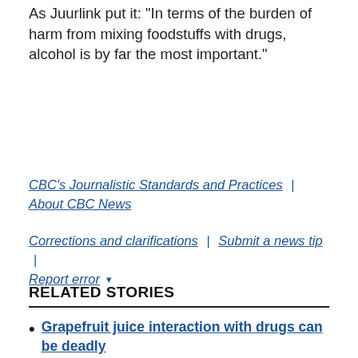As Juurlink put it: "In terms of the burden of harm from mixing foodstuffs with drugs, alcohol is by far the most important."
CBC's Journalistic Standards and Practices | About CBC News
Corrections and clarifications | Submit a news tip | Report error ▾
RELATED STORIES
Grapefruit juice interaction with drugs can be deadly